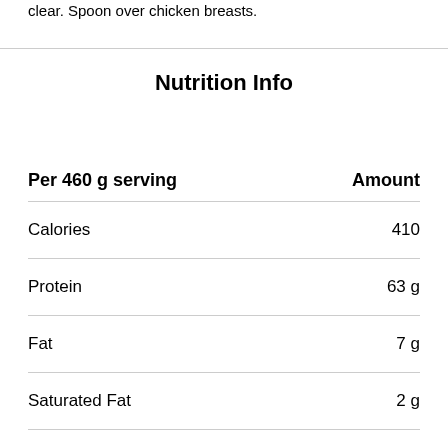clear. Spoon over chicken breasts.
Nutrition Info
| Per 460 g serving | Amount |
| --- | --- |
| Calories | 410 |
| Protein | 63 g |
| Fat | 7 g |
| Saturated Fat | 2 g |